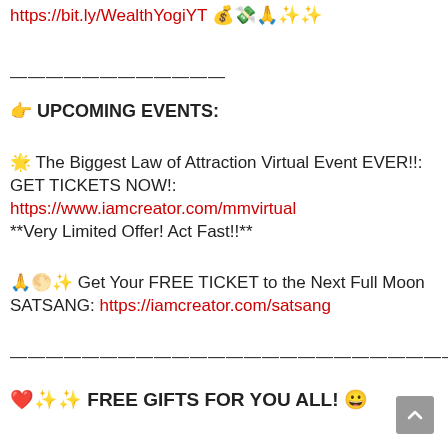https://bit.ly/WealthYogiYT 💰💸🙏✨✨
————————
👉 UPCOMING EVENTS:
🌟 The Biggest Law of Attraction Virtual Event EVER!!: GET TICKETS NOW!: https://www.iamcreator.com/mmvirtual **Very Limited Offer! Act Fast!!**
🙏🌕✨ Get Your FREE TICKET to the Next Full Moon SATSANG: https://iamcreator.com/satsang
————————————————————————————
❤️✨✨ FREE GIFTS FOR YOU ALL! 😀